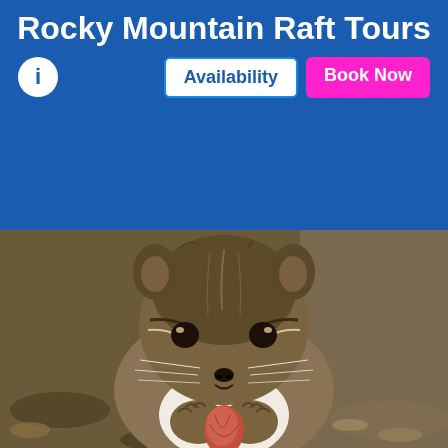Rocky Mountain Raft Tours
[Figure (photo): Close-up photo of a chipmunk holding and eating a nut/seed with both front paws, facing the camera, with striped fur pattern visible on face and back, blurred natural background with leaves and ground debris]
Availability
Book Now